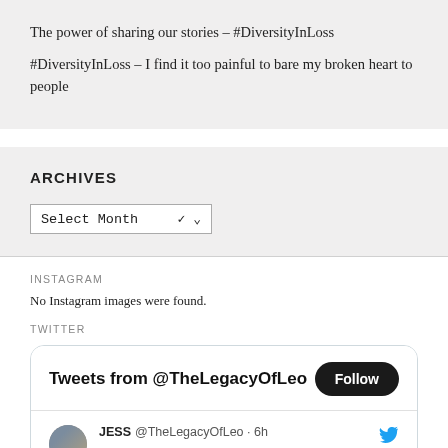The power of sharing our stories – #DiversityInLoss
#DiversityInLoss – I find it too painful to bare my broken heart to people
ARCHIVES
Select Month
INSTAGRAM
No Instagram images were found.
TWITTER
Tweets from @TheLegacyOfLeo
Follow
JESS @TheLegacyOfLeo · 6h